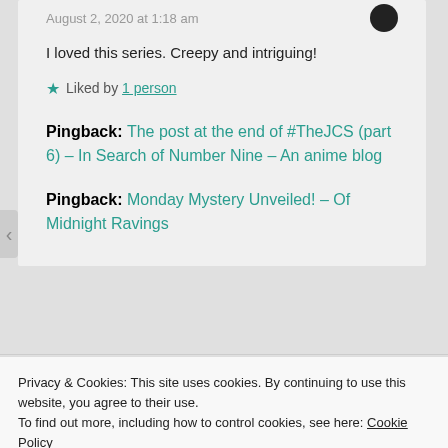August 2, 2020 at 1:18 am
I loved this series. Creepy and intriguing!
★ Liked by 1 person
Pingback: The post at the end of #TheJCS (part 6) – In Search of Number Nine – An anime blog
Pingback: Monday Mystery Unveiled! – Of Midnight Ravings
Privacy & Cookies: This site uses cookies. By continuing to use this website, you agree to their use.
To find out more, including how to control cookies, see here: Cookie Policy
Close and accept